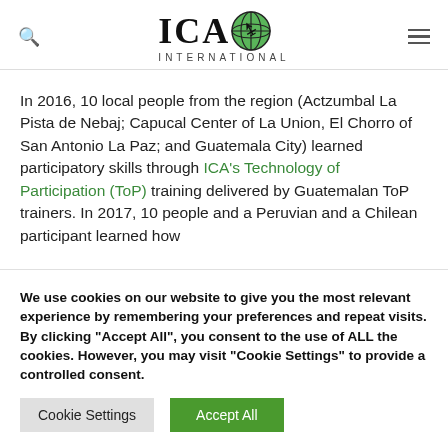ICAO INTERNATIONAL
In 2016, 10 local people from the region (Actzumbal La Pista de Nebaj; Capucal Center of La Union, El Chorro of San Antonio La Paz; and Guatemala City) learned participatory skills through ICA's Technology of Participation (ToP) training delivered by Guatemalan ToP trainers. In 2017, 10 people and a Peruvian and a Chilean participant learned how
We use cookies on our website to give you the most relevant experience by remembering your preferences and repeat visits. By clicking "Accept All", you consent to the use of ALL the cookies. However, you may visit "Cookie Settings" to provide a controlled consent.